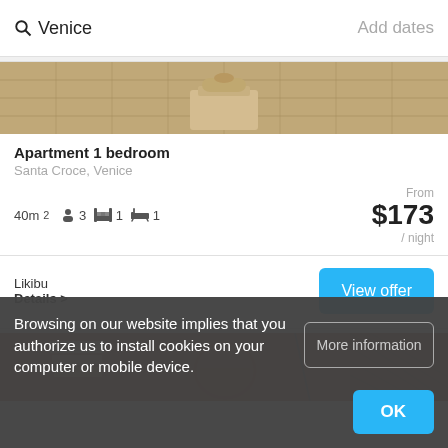Venice | Add dates
[Figure (photo): Top portion of apartment photo showing stone/tile floor with a stone pedestal object]
Apartment 1 bedroom
Santa Croce, Venice
40m² 3 [persons] 1 [bed] 1 [bath]
From
$173
/ night
Likibu
Details >
View offer
[Figure (photo): Bottom portion showing terracotta/pink building facade with arched window]
Browsing on our website implies that you authorize us to install cookies on your computer or mobile device.
More information
OK